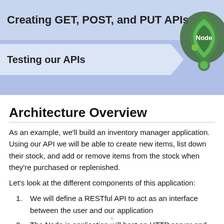[Figure (illustration): Blue banner header with two rows: 'Creating GET, POST, and PUT APIs' and 'Testing our APIs', with a Node.js logo (green shield/leaf icon) on the right side]
Architecture Overview
As an example, we’ll build an inventory manager application. Using our API we will be able to create new items, list down their stock, and add or remove items from the stock when they’re purchased or replenished.
Let’s look at the different components of this application:
We will define a RESTful API to act as an interface between the user and our application
The Node.js application will host an HTTP server and